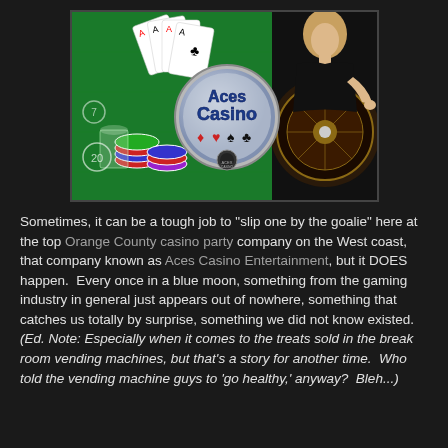[Figure (photo): Aces Casino promotional image showing playing cards, casino chips on a green felt table on the left, the Aces Casino logo (a circular badge with playing card suits) in the center, and a woman leaning over a roulette wheel on the right.]
Sometimes, it can be a tough job to "slip one by the goalie" here at the top Orange County casino party company on the West coast, that company known as Aces Casino Entertainment, but it DOES happen.  Every once in a blue moon, something from the gaming industry in general just appears out of nowhere, something that catches us totally by surprise, something we did not know existed.  (Ed. Note: Especially when it comes to the treats sold in the break room vending machines, but that's a story for another time.  Who told the vending machine guys to 'go healthy,' anyway?  Bleh...)